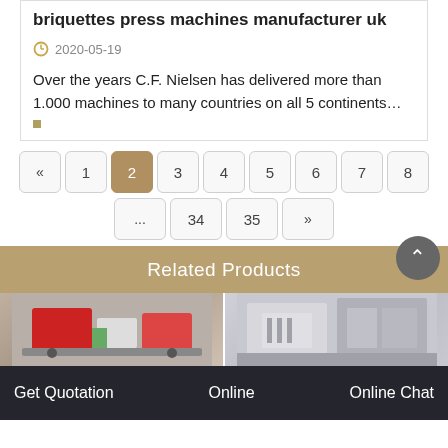briquettes press machines manufacturer uk
2020-05-19
Over the years C.F. Nielsen has delivered more than 1.000 machines to many countries on all 5 continents…
« 1 2 3 4 5 6 7 8
... 34 35 »
Related Products
[Figure (photo): Two product photos side by side showing industrial briquetting machines]
Online
Get Quotation
Online Chat